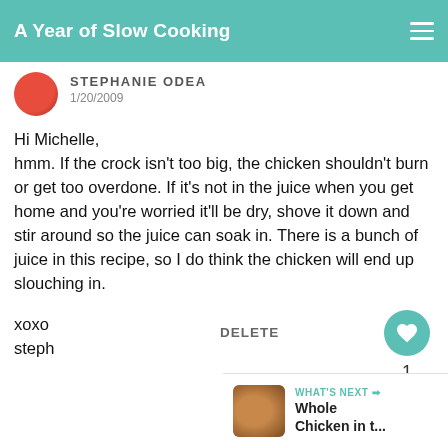A Year of Slow Cooking
STEPHANIE ODEA
1/20/2009
Hi Michelle,
hmm. If the crock isn't too big, the chicken shouldn't burn or get too overdone. If it's not in the juice when you get home and you're worried it'll be dry, shove it down and stir around so the juice can soak in. There is a bunch of juice in this recipe, so I do think the chicken will end up slouching in.

xoxo
steph
DELETE
WHAT'S NEXT → Whole Chicken in t...